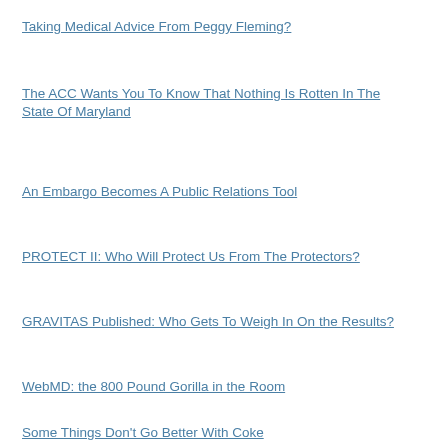Taking Medical Advice From Peggy Fleming?
The ACC Wants You To Know That Nothing Is Rotten In The State Of Maryland
An Embargo Becomes A Public Relations Tool
PROTECT II: Who Will Protect Us From The Protectors?
GRAVITAS Published: Who Gets To Weigh In On the Results?
WebMD: the 800 Pound Gorilla in the Room
Some Things Don't Go Better With Coke